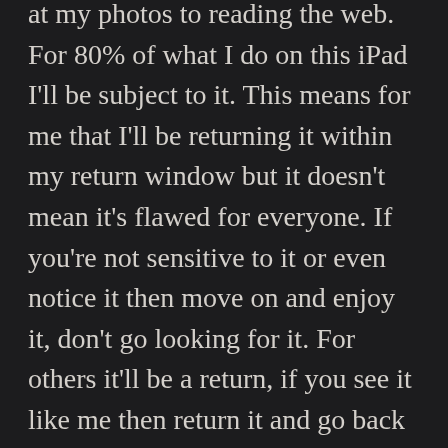at my photos to reading the web. For 80% of what I do on this iPad I'll be subject to it. This means for me that I'll be returning it within my return window but it doesn't mean it's flawed for everyone. If you're not sensitive to it or even notice it then move on and enjoy it, don't go looking for it. For others it'll be a return, if you see it like me then return it and go back to your other iPad or what I'll be doing for now, my iPhone.
This isn't something to jump and scream about, it's what a lot screens do but Apple has chosen an implementation that is at the detriment of